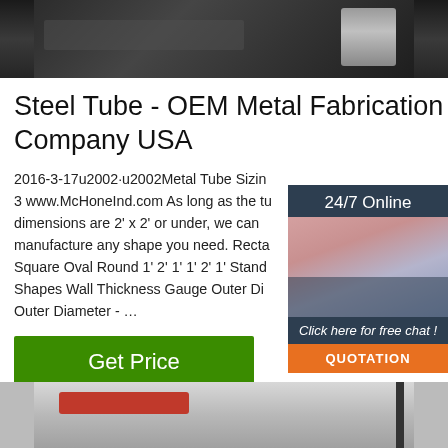[Figure (photo): Top industrial/manufacturing equipment photo, dark metallic machinery]
Steel Tube - OEM Metal Fabrication Company USA
2016-3-17u2002·u2002Metal Tube Sizing 3 www.McHoneInd.com As long as the tube dimensions are 2' x 2' or under, we can manufacture any shape you need. Recta Square Oval Round 1' 2' 1' 1' 2' 1' Stand Shapes Wall Thickness Gauge Outer Di Outer Diameter - …
[Figure (photo): Sidebar: 24/7 Online chat support widget with woman wearing headset]
Click here for free chat !
QUOTATION
Get Price
[Figure (photo): Bottom industrial warehouse photo with red overhead crane]